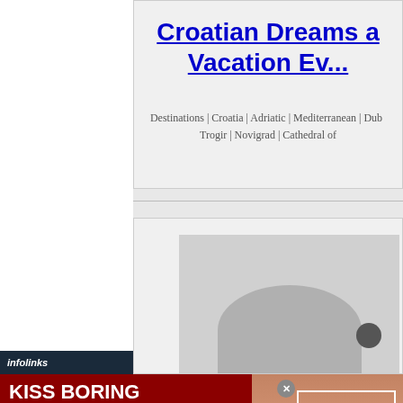Croatian Dreams and Vacation Ev...
Destinations | Croatia | Adriatic | Mediterranean | Dubr...
Trogir | Novigrad | Cathedral of ...
[Figure (photo): Partial photo visible inside bottom card, showing a grey silhouette/figure]
infolinks
[Figure (infographic): Macy's advertisement banner: KISS BORING LIPS GOODBYE with woman wearing red lipstick, SHOP NOW button, Macy's star logo]